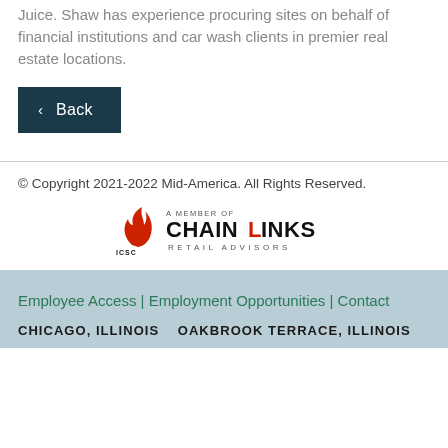Juice. Shaw has experience procuring sites on behalf of financial institutions and car wash clients in premier real estate locations.
< Back
© Copyright 2021-2022 Mid-America. All Rights Reserved.
[Figure (logo): ICSC Member badge with Chainlinks Retail Advisors logo - flame icon in red with CHAINLINKS text in black and red, RETAIL ADVISORS subtitle, A MEMBER OF text above]
Employee Access | Employment Opportunities | Contact
CHICAGO, ILLINOIS   OAKBROOK TERRACE, ILLINOIS